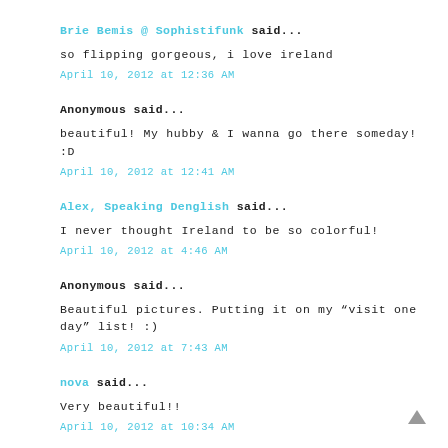Brie Bemis @ Sophistifunk said...
so flipping gorgeous, i love ireland
April 10, 2012 at 12:36 AM
Anonymous said...
beautiful! My hubby & I wanna go there someday! :D
April 10, 2012 at 12:41 AM
Alex, Speaking Denglish said...
I never thought Ireland to be so colorful!
April 10, 2012 at 4:46 AM
Anonymous said...
Beautiful pictures. Putting it on my “visit one day” list! :)
April 10, 2012 at 7:43 AM
nova said...
Very beautiful!!
April 10, 2012 at 10:34 AM